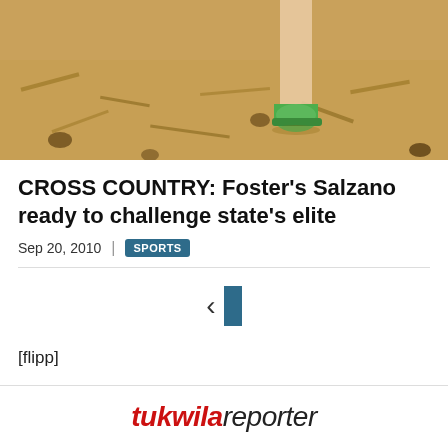[Figure (photo): Close-up photo of a runner's feet in green shoes running on dry pine-needle covered ground with pine cones visible]
CROSS COUNTRY: Foster's Salzano ready to challenge state's elite
Sep 20, 2010 | SPORTS
[Figure (other): Navigation element with left chevron arrow and a blue vertical bar]
[flipp]
tukwiloreporter